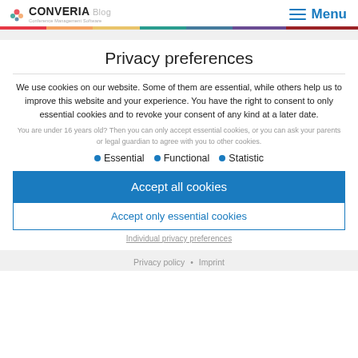CONVERIA Blog - Conference Management Software | Menu
Privacy preferences
We use cookies on our website. Some of them are essential, while others help us to improve this website and your experience. You have the right to consent to only essential cookies and to revoke your consent of any kind at a later date.
You are under 16 years old? Then you can only accept essential cookies, or you can ask your parents or legal guardian to agree with you to other cookies.
Essential
Functional
Statistic
Accept all cookies
Accept only essential cookies
Individual privacy preferences
Privacy policy • Imprint